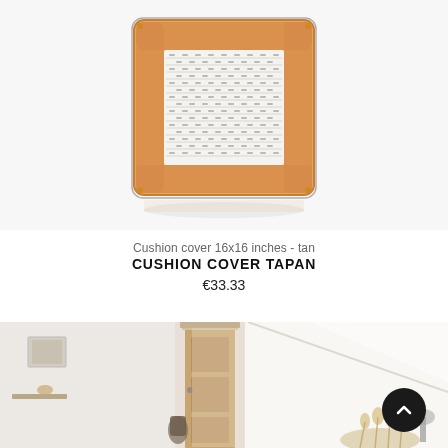[Figure (photo): Product photo of a square cushion cover with tan herringbone border and white woven/embroidered center pattern, photographed on white background with slight reflection below]
Cushion cover 16x16 inches - tan
CUSHION COVER TAPAN
€33.33
[Figure (photo): Interior room photo showing a white room with a wooden door, framed pictures on the wall, a decorative item on a shelf, a bag hanging near the door, and dried flowers/plants in the lower right corner]